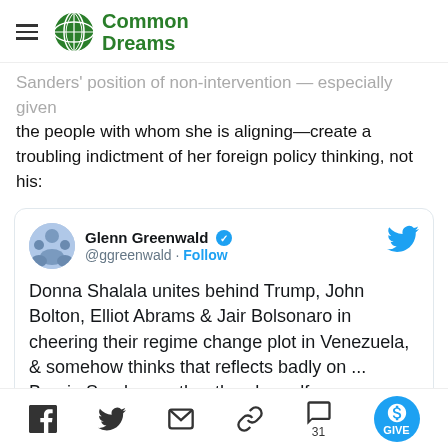Common Dreams
Sanders' position of non-intervention — especially given the people with whom she is aligning—create a troubling indictment of her foreign policy thinking, not his:
[Figure (screenshot): Embedded tweet from Glenn Greenwald (@ggreenwald) with verified badge and Follow button. Tweet text: Donna Shalala unites behind Trump, John Bolton, Elliot Abrams & Jair Bolsonaro in cheering their regime change plot in Venezuela, & somehow thinks that reflects badly on ... Bernie Sanders, rather than herself:]
Social share icons: Facebook, Twitter, Email, Link, Comments (31), GIVE